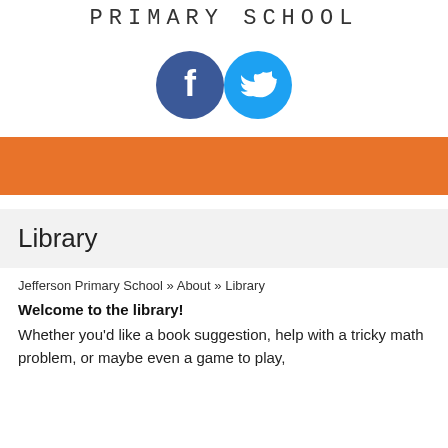PRIMARY SCHOOL
[Figure (illustration): Facebook and Twitter social media icon circles side by side]
Library
Jefferson Primary School » About » Library
Welcome to the library!
Whether you'd like a book suggestion, help with a tricky math problem, or maybe even a game to play, the school informationist is here to help. Click...